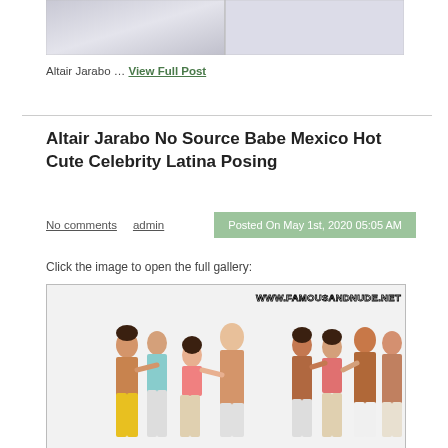[Figure (photo): Partial photo at top of page, appears to show light/white surfaces, cropped]
Altair Jarabo … View Full Post
Altair Jarabo No Source Babe Mexico Hot Cute Celebrity Latina Posing
No comments   admin   Posted On May 1st, 2020 05:05 AM
Click the image to open the full gallery:
[Figure (photo): Group of young people in swimwear on white background, watermark www.famousandnude.net at top right]